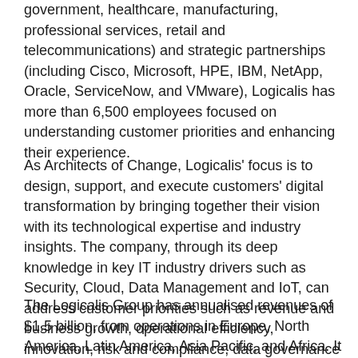government, healthcare, manufacturing, professional services, retail and telecommunications) and strategic partnerships (including Cisco, Microsoft, HPE, IBM, NetApp, Oracle, ServiceNow, and VMware), Logicalis has more than 6,500 employees focused on understanding customer priorities and enhancing their experience.
As Architects of Change, Logicalis' focus is to design, support, and execute customers' digital transformation by bringing together their vision with its technological expertise and industry insights. The company, through its deep knowledge in key IT industry drivers such as Security, Cloud, Data Management and IoT, can address customer priorities such as revenue and business growth, operational efficiency, innovation, risk and compliance, data governance and sustainability.
The Logicalis Group has annualised revenues of $1.5 billion, from operations in Europe, North America, Latin America, Asia Pacific, and Africa. It is a division of Datatec Limited, listed on the Johannesburg Stock Exchange, with revenues of over $4.1